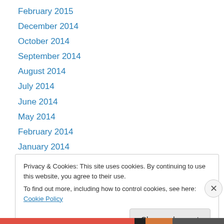February 2015
December 2014
October 2014
September 2014
August 2014
July 2014
June 2014
May 2014
February 2014
January 2014
December 2013
November 2013
October 2013
Privacy & Cookies: This site uses cookies. By continuing to use this website, you agree to their use.
To find out more, including how to control cookies, see here: Cookie Policy
Close and accept